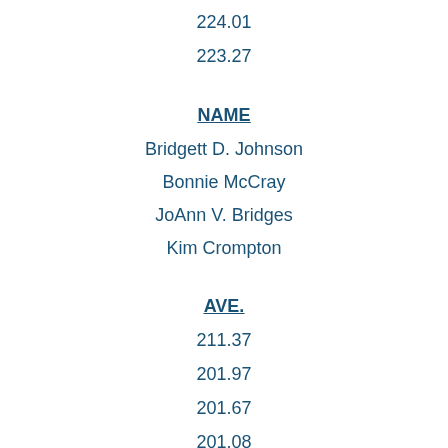224.01
223.27
NAME
Bridgett D. Johnson
Bonnie McCray
JoAnn V. Bridges
Kim Crompton
AVE.
211.37
201.97
201.67
201.08